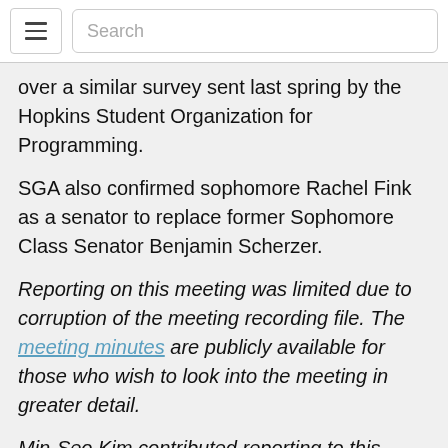[hamburger menu] [Search]
over a similar survey sent last spring by the Hopkins Student Organization for Programming.
SGA also confirmed sophomore Rachel Fink as a senator to replace former Sophomore Class Senator Benjamin Scherzer.
Reporting on this meeting was limited due to corruption of the meeting recording file. The meeting minutes are publicly available for those who wish to look into the meeting in greater detail.
Min-Seo Kim contributed reporting to this article.
Correction: The previous version of this article asserted that SAC stands for Student Activities Commission instead of COVID-19 Student Advisory Committee. The News-